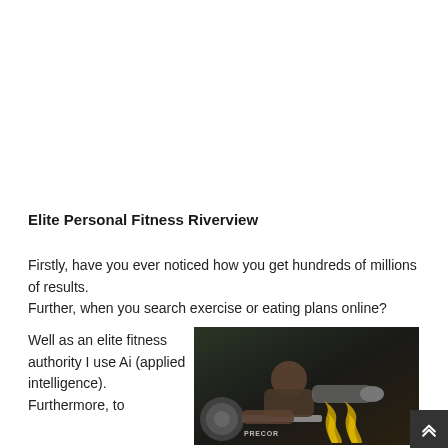Elite Personal Fitness Riverview
Firstly, have you ever noticed how you get hundreds of millions of results.
Further, when you search exercise or eating plans online?
Well as an elite fitness authority I use Ai (applied intelligence).
Furthermore, to
[Figure (photo): A muscular man working out intensely on gym equipment (Precor brand), photographed from above, shirtless, in a dark gym setting with flame graphics visible in the background.]